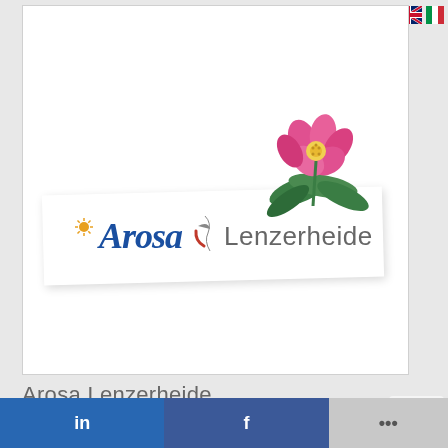[Figure (logo): Arosa Lenzerheide logo with flower on white ribbon banner, language flags (UK and Italy) in top right corner]
Arosa Lenzerheide
[Figure (infographic): LinkedIn and Facebook share buttons plus more options button in blue social bar at bottom]